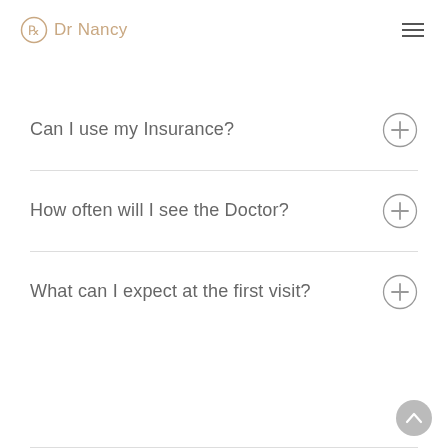Dr Nancy
Can I use my Insurance?
How often will I see the Doctor?
What can I expect at the first visit?